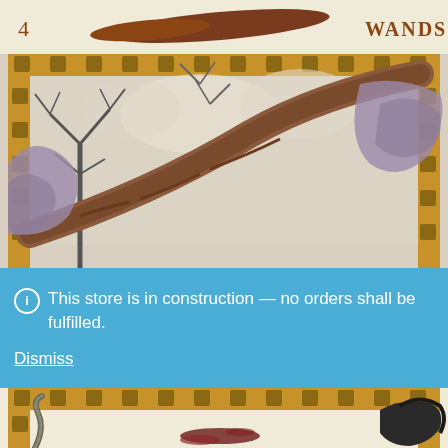[Figure (illustration): Tarot card header showing number 4 on the left, a dark elongated wand/fish shape in the center, and 'WANDS' text on the right, in reddish-brown on cream background]
[Figure (illustration): Tarot card illustration (4 of Wands) showing large twisted tree branches with bare winter trees in background, cloudy sky, decorated with gold ornamental border with geometric diamond patterns. Colors are muted purples, browns, and creams.]
This store is in construction — no orders shall be fulfilled.
Dismiss
[Figure (illustration): Bottom portion of a second tarot card showing a snake/serpent on the left, dark clotted blood stains, a figure with dark hair on the right, all within the same gold ornamental border. Colors are muted purples, dark reds, and creams.]